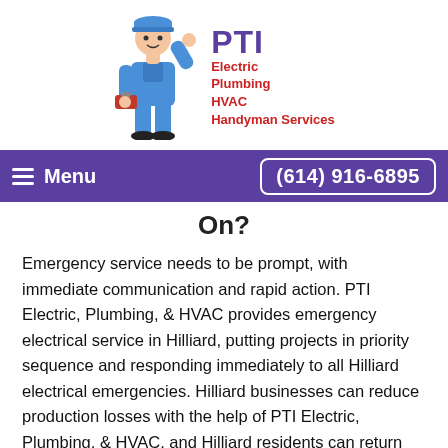[Figure (logo): PTI Electric Plumbing HVAC Handyman Services logo with a cartoon plumber/electrician in blue overalls holding a toolbox]
≡ Menu   (614) 916-6895
On?
Emergency service needs to be prompt, with immediate communication and rapid action. PTI Electric, Plumbing, & HVAC provides emergency electrical service in Hilliard, putting projects in priority sequence and responding immediately to all Hilliard electrical emergencies. Hilliard businesses can reduce production losses with the help of PTI Electric, Plumbing, & HVAC, and Hilliard residents can return their home to its normal level of comfort and safety.